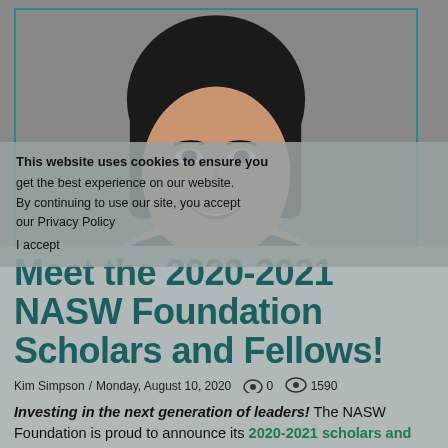[Figure (photo): Headshot portrait of a smiling Asian woman with black bob haircut, red lipstick, wearing dark top, grey background]
This website uses cookies to ensure you get the best experience on our website. By continuing to use our site, you accept our Privacy Policy
Meet the 2020-2021 NASW Foundation Scholars and Fellows!
Kim Simpson / Monday, August 10, 2020  0  1590
Investing in the next generation of leaders! The NASW Foundation is proud to announce its 2020-2021 scholars and fellows. This exemplary group of 20 doctoral and master's degree students will receive $121,750 in awards from five